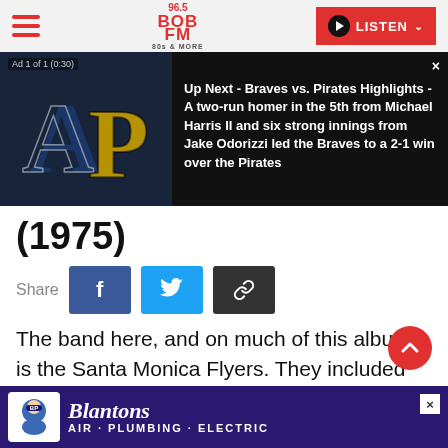96.5 BOB FM 80s & MORE | LISTEN
[Figure (screenshot): Ad banner showing Atlanta Braves and Pittsburgh Pirates logos on dark background with text: Ad 1 of 1 (0:30) Up Next - Braves vs. Pirates Highlights - A two-run homer in the 5th from Michael Harris II and six strong innings from Jake Odorizzi led the Braves to a 2-1 win over the Pirates]
(1975)
Share
The band here, and on much of this album, is the Santa Monica Flyers. They included the surviving members of the original Crazy Horse - bassist Billy Talbot and drummer Ralph
[Figure (screenshot): Bottom advertisement for Blanton's Air Plumbing Electric service company with mascot logo on purple background. Text: Blanton's AIR · PLUMBING · ELECTRIC]